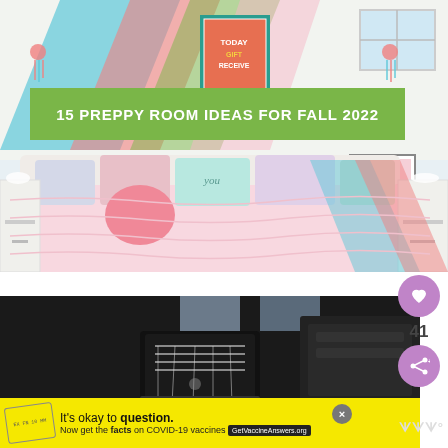[Figure (photo): Colorful preppy bedroom with diagonal painted stripes on wall, decorative posters, pink and teal throw pillows on bed with pink comforter, white nightstands, tassel decorations. Green banner overlay reads '15 PREPPY ROOM IDEAS FOR FALL 2022'.]
15 PREPPY ROOM IDEAS FOR FALL 2022
[Figure (photo): Photo showing legs wearing black Converse high-top sneakers with white laces, and a black bag/backpack visible on the right side.]
[Figure (other): Social media interaction buttons: heart/like button (purple circle with heart icon), like count of 41, and share button (purple circle with share icon).]
It's okay to question. Now get the facts on COVID-19 vaccines GetVaccineAnswers.org